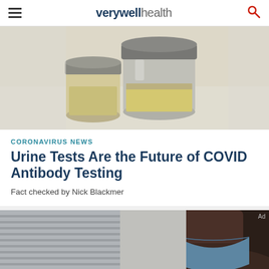verywell health
[Figure (photo): Close-up of urine sample collection jars/bottles on a light surface]
CORONAVIRUS NEWS
Urine Tests Are the Future of COVID Antibody Testing
Fact checked by Nick Blackmer
[Figure (photo): Person wearing a blue face mask, partial view]
Ad
We help people find answers, solve problems and get inspired.
Dotdash meredith